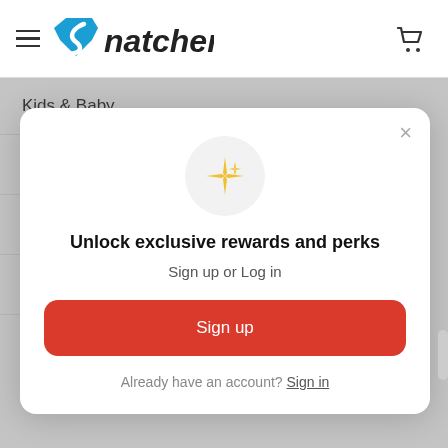Snatcher
Kids & Baby
Promotions
Books
Office & Stationery
[Figure (screenshot): Modal dialog with sparkle icon, headline 'Unlock exclusive rewards and perks', subtitle 'Sign up or Log in', red Sign up button, and 'Already have an account? Sign in' link]
Unlock exclusive rewards and perks
Sign up or Log in
Sign up
Already have an account? Sign in